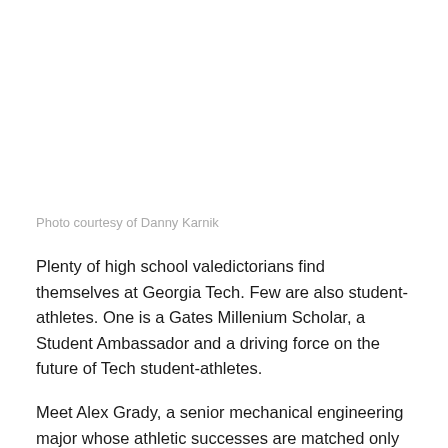[Figure (photo): Photo of Alex Grady (not visible in this crop — white space placeholder)]
Photo courtesy of Danny Karnik
Plenty of high school valedictorians find themselves at Georgia Tech. Few are also student-athletes. One is a Gates Millenium Scholar, a Student Ambassador and a driving force on the future of Tech student-athletes.
Meet Alex Grady, a senior mechanical engineering major whose athletic successes are matched only by his involvement on campus. Grady defies virtually every